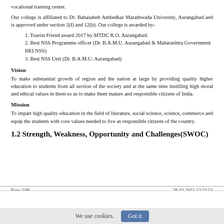vocational training center.
Our college is affiliated to Dr. Babasaheb Ambedkar Marathwada University, Aurangabad and is approved under section 2(f) and 12(b). Our college is awarded by-
1. Tourist Friend award 2017 by MTDC R.O. Aurangabad.
2. Best NSS Programme officer (Dr. B.A.M.U. Aurangabad & Maharashtra Government HEI NSS)
3. Best NSS Unit (Dr. B.A.M.U. Aurangabad)
Vision
To make substantial growth of region and the nation at large by providing quality higher education to students from all section of the society and at the same time instilling high moral and ethical values in them so as to make them mature and responsible citizens of India.
Mission
To impart high quality education in the field of literature, social science, science, commerce and equip the students with core values needed to live as responsible citizens of the country.
1.2 Strength, Weakness, Opportunity and Challenges(SWOC)
Page 2/86                                                    28-02-2021 12:21:53
Self Study Report of AJINTHA EDUCATION SOCIETY'S PANDIT JAWAHARLAL NEHRU MAHAVIDYALAYA